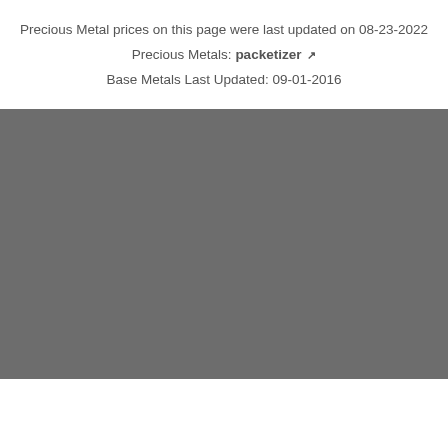Precious Metal prices on this page were last updated on 08-23-2022
Precious Metals: packetizer ↗
Base Metals Last Updated: 09-01-2016
[Figure (other): Large gray rectangular block occupying the lower portion of the page, representing an image or content area that did not load or is obscured.]